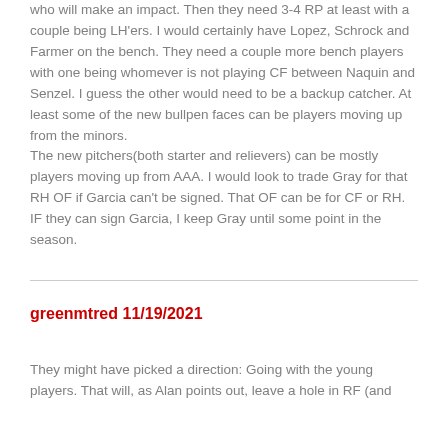who will make an impact. Then they need 3-4 RP at least with a couple being LH'ers. I would certainly have Lopez, Schrock and Farmer on the bench. They need a couple more bench players with one being whomever is not playing CF between Naquin and Senzel. I guess the other would need to be a backup catcher. At least some of the new bullpen faces can be players moving up from the minors.
The new pitchers(both starter and relievers) can be mostly players moving up from AAA. I would look to trade Gray for that RH OF if Garcia can't be signed. That OF can be for CF or RH. IF they can sign Garcia, I keep Gray until some point in the season.
greenmtred 11/19/2021
They might have picked a direction: Going with the young players. That will, as Alan points out, leave a hole in RF (and